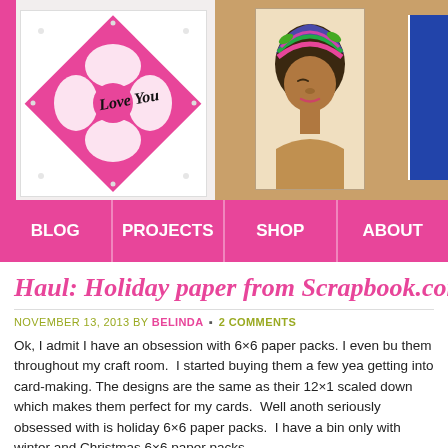[Figure (photo): Blog header image showing handmade greeting cards: a white card with pink floral laser-cut diamond design saying 'Love You', a portrait card of a woman with colorful headwrap, and partial blue card edge, on a tan background]
BLOG | PROJECTS | SHOP | ABOUT
Haul: Holiday paper from Scrapbook.com
NOVEMBER 13, 2013 BY BELINDA • 2 COMMENTS
Ok, I admit I have an obsession with 6×6 paper packs. I even bu them throughout my craft room. I started buying them a few yea getting into card-making. The designs are the same as their 12×1 scaled down which makes them perfect for my cards. Well anoth seriously obsessed with is holiday 6×6 paper packs. I have a bin only with winter and Christmas 6×6 paper packs.